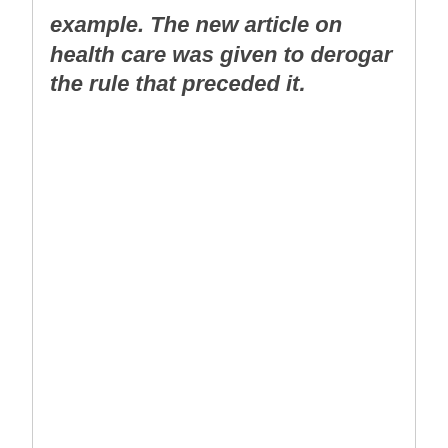example. The new article on health care was given to derogar the rule that preceded it.